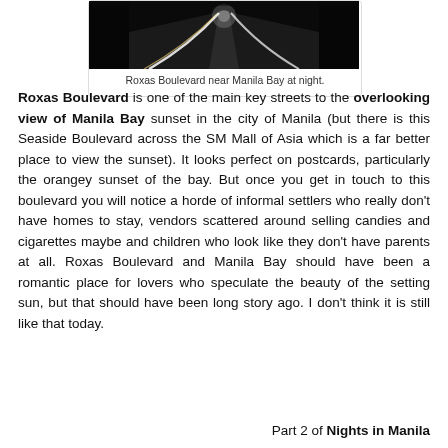[Figure (photo): Night photo of Roxas Boulevard near Manila Bay showing light trails on a road at night]
Roxas Boulevard near Manila Bay at night.
Roxas Boulevard is one of the main key streets to the overlooking view of Manila Bay sunset in the city of Manila (but there is this Seaside Boulevard across the SM Mall of Asia which is a far better place to view the sunset). It looks perfect on postcards, particularly the orangey sunset of the bay. But once you get in touch to this boulevard you will notice a horde of informal settlers who really don't have homes to stay, vendors scattered around selling candies and cigarettes maybe and children who look like they don't have parents at all. Roxas Boulevard and Manila Bay should have been a romantic place for lovers who speculate the beauty of the setting sun, but that should have been long story ago. I don't think it is still like that today.
Part 2 of Nights in Manila